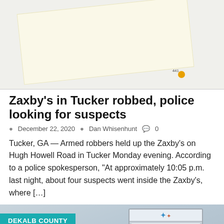[Figure (map): Partial map view with a light yellow highlighted area and an orange location pin marker]
Zaxby's in Tucker robbed, police looking for suspects
December 22, 2020  Dan Whisenhunt  0
Tucker, GA — Armed robbers held up the Zaxby's on Hugh Howell Road in Tucker Monday evening. According to a police spokesperson, "At approximately 10:05 p.m. last night, about four suspects went inside the Zaxby's, where [...]
[Figure (photo): Photo showing overcast sky with a DeKalb County school district sign in the foreground. A teal 'DEKALB COUNTY' tag overlay is in the top left. A back-to-top arrow button is in the bottom right.]